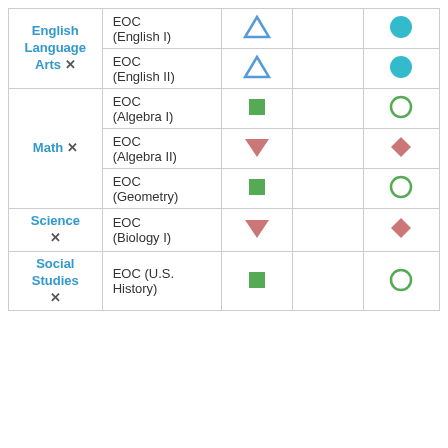| Subject | Test | Symbol1 | Symbol2 | Symbol3 |
| --- | --- | --- | --- | --- |
| English Language Arts ✕ | EOC (English I) | △ (blue outline) |  | ● (teal) |
|  | EOC (English II) | △ (blue outline) |  | ● (teal) |
| Math ✕ | EOC (Algebra I) | ■ (green) |  | ○ (green outline) |
|  | EOC (Algebra II) | ▼ (pink) |  | ◆ (pink) |
|  | EOC (Geometry) | ■ (green) |  | ○ (green outline) |
| Science ✕ | EOC (Biology I) | ▼ (pink) |  | ◆ (pink) |
| Social Studies ✕ | EOC (U.S. History) | ■ (green) |  | ○ (green outline) |